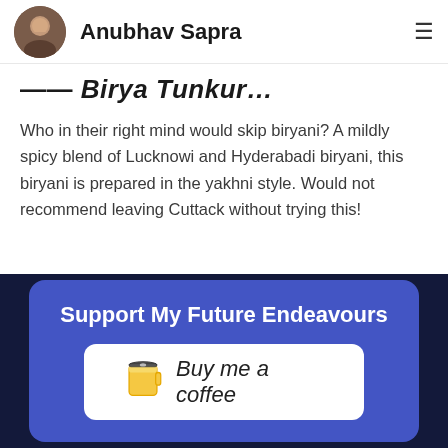Anubhav Sapra
Hotel Birya Tunkur…
Who in their right mind would skip biryani? A mildly spicy blend of Lucknowi and Hyderabadi biryani, this biryani is prepared in the yakhni style. Would not recommend leaving Cuttack without trying this!
Support My Future Endeavours
[Figure (illustration): Buy me a coffee button with a coffee cup icon and handwritten-style text]